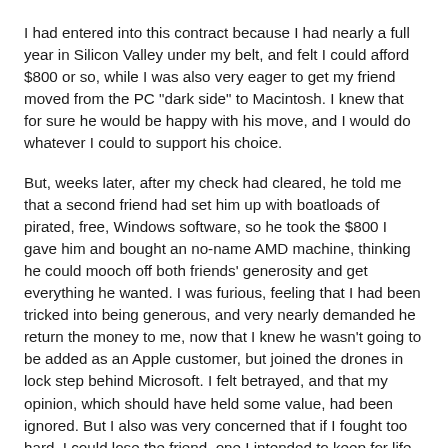I had entered into this contract because I had nearly a full year in Silicon Valley under my belt, and felt I could afford $800 or so, while I was also very eager to get my friend moved from the PC "dark side" to Macintosh. I knew that for sure he would be happy with his move, and I would do whatever I could to support his choice.
But, weeks later, after my check had cleared, he told me that a second friend had set him up with boatloads of pirated, free, Windows software, so he took the $800 I gave him and bought an no-name AMD machine, thinking he could mooch off both friends' generosity and get everything he wanted. I was furious, feeling that I had been tricked into being generous, and very nearly demanded he return the money to me, now that I knew he wasn't going to be added as an Apple customer, but joined the drones in lock step behind Microsoft. I felt betrayed, and that my opinion, which should have held some value, had been ignored. But I also was very concerned that if I fought too hard, I could lose the friend, one I intended to keep for life, over a stupid computer OS choice.